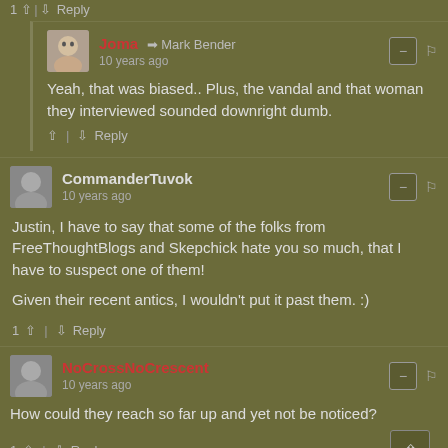1 ↑ | ↓ Reply
Joma → Mark Bender · 10 years ago
Yeah, that was biased.. Plus, the vandal and that woman they interviewed sounded downright dumb.
↑ | ↓ Reply
CommanderTuvok · 10 years ago
Justin, I have to say that some of the folks from FreeThoughtBlogs and Skepchick hate you so much, that I have to suspect one of them!

Given their recent antics, I wouldn't put it past them. :)
1 ↑ | ↓ Reply
NoCrossNoCrescent · 10 years ago
How could they reach so far up and yet not be noticed?
1 ↑ | ↓ Reply
Vic